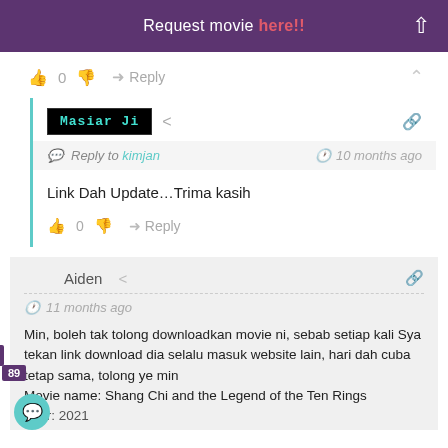Request movie here!!
👍 0 👎 ➜ Reply
Masiar Ji
Reply to kimjan  10 months ago
Link Dah Update…Trima kasih
👍 0 👎 ➜ Reply
Aiden  11 months ago
Min, boleh tak tolong downloadkan movie ni, sebab setiap kali Sya tekan link download dia selalu masuk website lain, hari dah cuba tetap sama, tolong ye min
Movie name: Shang Chi and the Legend of the Ten Rings
Year: 2021